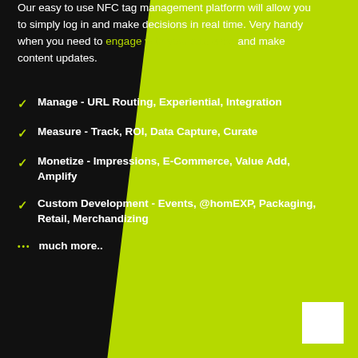Our easy to use NFC tag management platform will allow you to simply log in and make decisions in real time. Very handy when you need to engage with your audience and make content updates.
Manage - URL Routing, Experiential, Integration
Measure - Track, ROI, Data Capture, Curate
Monetize - Impressions, E-Commerce, Value Add, Amplify
Custom Development - Events, @homEXP, Packaging, Retail, Merchandizing
much more..